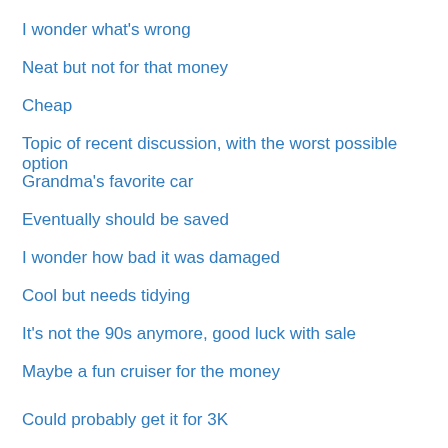I wonder what's wrong
Neat but not for that money
Cheap
Topic of recent discussion, with the worst possible option
Grandma's favorite car
Eventually should be saved
I wonder how bad it was damaged
Cool but needs tidying
It's not the 90s anymore, good luck with sale
Maybe a fun cruiser for the money
Could probably get it for 3K